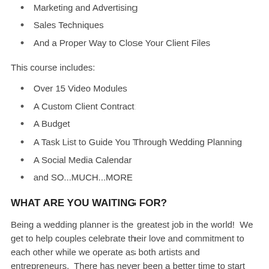Marketing and Advertising
Sales Techniques
And a Proper Way to Close Your Client Files
This course includes:
Over 15 Video Modules
A Custom Client Contract
A Budget
A Task List to Guide You Through Wedding Planning
A Social Media Calendar
and SO...MUCH...MORE
WHAT ARE YOU WAITING FOR?
Being a wedding planner is the greatest job in the world!  We get to help couples celebrate their love and commitment to each other while we operate as both artists and entrepreneurs.  There has never been a better time to start your own business and take control of your life....Register Today!